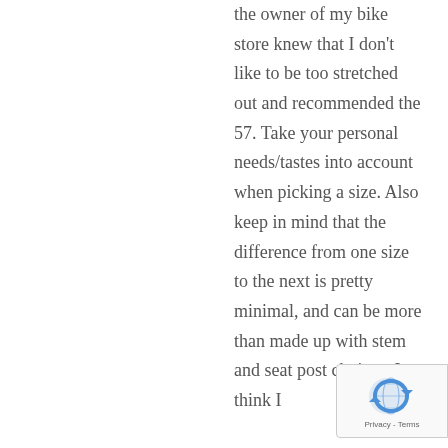the owner of my bike store knew that I don't like to be too stretched out and recommended the 57. Take your personal needs/tastes into account when picking a size. Also keep in mind that the difference from one size to the next is pretty minimal, and can be more than made up with stem and seat post choices. I think I
[Figure (logo): reCAPTCHA badge with globe/arrow icon and Privacy - Terms text]